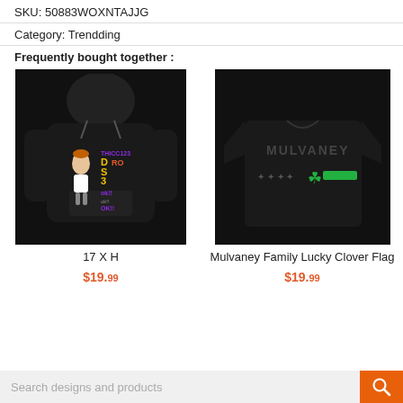SKU: 50883WOXNTAJJG
Category: Trendding
Frequently bought together :
[Figure (photo): Black hoodie with cartoon character graphic and text '17 X H' below]
[Figure (photo): Black t-shirt with 'MULVANEY' text, shamrock and green bar design. Caption: Mulvaney Family Lucky Clover Flag]
17 X H
Mulvaney Family Lucky Clover Flag
$19.99
$19.99
Search designs and products